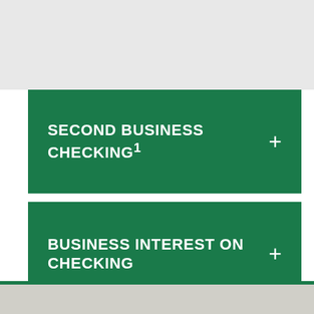SECOND BUSINESS CHECKING¹
BUSINESS INTEREST ON CHECKING
Disclosures